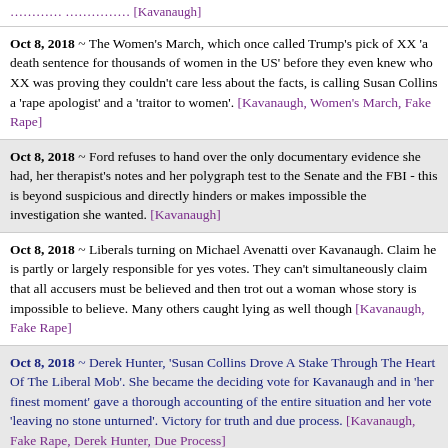[Kavanaugh]
Oct 8, 2018 ~ The Women's March, which once called Trump's pick of XX 'a death sentence for thousands of women in the US' before they even knew who XX was proving they couldn't care less about the facts, is calling Susan Collins a 'rape apologist' and a 'traitor to women'. [Kavanaugh, Women's March, Fake Rape]
Oct 8, 2018 ~ Ford refuses to hand over the only documentary evidence she had, her therapist's notes and her polygraph test to the Senate and the FBI - this is beyond suspicious and directly hinders or makes impossible the investigation she wanted. [Kavanaugh]
Oct 8, 2018 ~ Liberals turning on Michael Avenatti over Kavanaugh. Claim he is partly or largely responsible for yes votes. They can't simultaneously claim that all accusers must be believed and then trot out a woman whose story is impossible to believe. Many others caught lying as well though [Kavanaugh, Fake Rape]
Oct 8, 2018 ~ Derek Hunter, 'Susan Collins Drove A Stake Through The Heart Of The Liberal Mob'. She became the deciding vote for Kavanaugh and in 'her finest moment' gave a thorough accounting of the entire situation and her vote 'leaving no stone unturned'. Victory for truth and due process. [Kavanaugh, Fake Rape, Derek Hunter, Due Process]